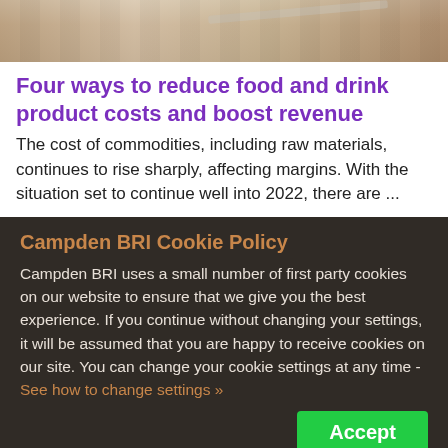[Figure (photo): Photo of hands holding a tablet/device on a wooden surface, cropped to top strip]
Four ways to reduce food and drink product costs and boost revenue
The cost of commodities, including raw materials, continues to rise sharply, affecting margins. With the situation set to continue well into 2022, there are ...
Campden BRI Cookie Policy
Campden BRI uses a small number of first party cookies on our website to ensure that we give you the best experience. If you continue without changing your settings, it will be assumed that you are happy to receive cookies on our site. You can change your cookie settings at any time - See how to change settings »
Accept
Und...
The...
Contact an expert